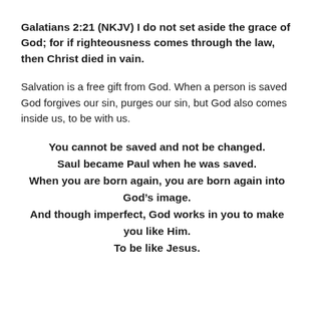Galatians 2:21 (NKJV) I do not set aside the grace of God; for if righteousness comes through the law, then Christ died in vain.
Salvation is a free gift from God. When a person is saved God forgives our sin, purges our sin, but God also comes inside us, to be with us.
You cannot be saved and not be changed.
Saul became Paul when he was saved.
When you are born again, you are born again into God’s image.
And though imperfect, God works in you to make you like Him.
To be like Jesus.